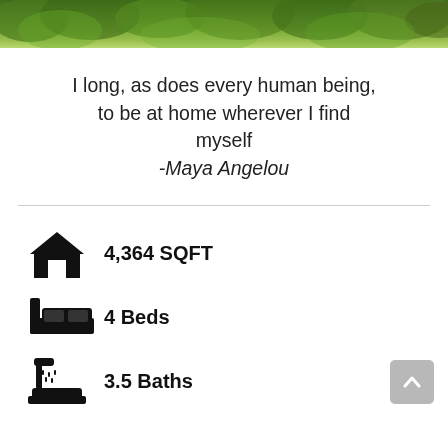[Figure (photo): Green foliage/trees photo strip at top of page]
I long, as does every human being, to be at home wherever I find myself
-Maya Angelou
4,364 SQFT
4 Beds
3.5 Baths